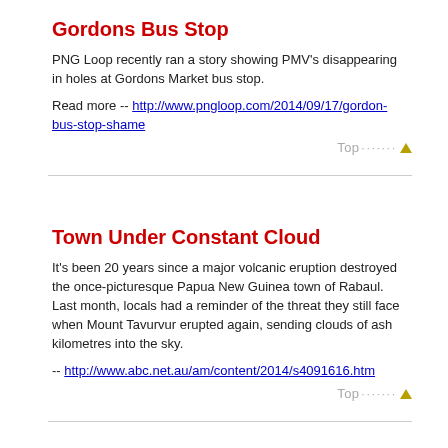Gordons Bus Stop
PNG Loop recently ran a story showing PMV's disappearing in holes at Gordons Market bus stop.
Read more -- http://www.pngloop.com/2014/09/17/gordon-bus-stop-shame
Town Under Constant Cloud
It's been 20 years since a major volcanic eruption destroyed the once-picturesque Papua New Guinea town of Rabaul. Last month, locals had a reminder of the threat they still face when Mount Tavurvur erupted again, sending clouds of ash kilometres into the sky.
-- http://www.abc.net.au/am/content/2014/s4091616.htm
Exchange Rate